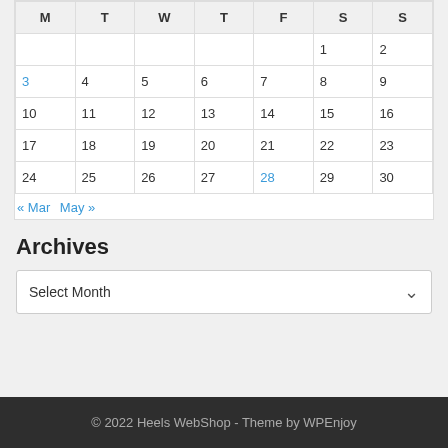| M | T | W | T | F | S | S |
| --- | --- | --- | --- | --- | --- | --- |
|  |  |  |  |  | 1 | 2 |
| 3 | 4 | 5 | 6 | 7 | 8 | 9 |
| 10 | 11 | 12 | 13 | 14 | 15 | 16 |
| 17 | 18 | 19 | 20 | 21 | 22 | 23 |
| 24 | 25 | 26 | 27 | 28 | 29 | 30 |
« Mar   May »
Archives
Select Month
© 2022 Heels WebShop - Theme by WPEnjoy